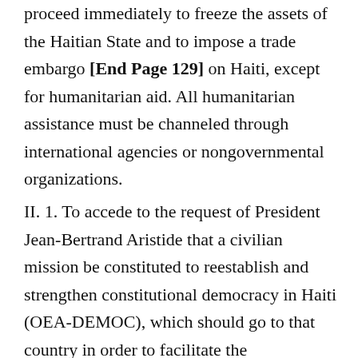proceed immediately to freeze the assets of the Haitian State and to impose a trade embargo [End Page 129] on Haiti, except for humanitarian aid. All humanitarian assistance must be channeled through international agencies or nongovernmental organizations.
II. 1. To accede to the request of President Jean-Bertrand Aristide that a civilian mission be constituted to reestablish and strengthen constitutional democracy in Haiti (OEA-DEMOC), which should go to that country in order to facilitate the reestablishment and strengthening of democratic institutions